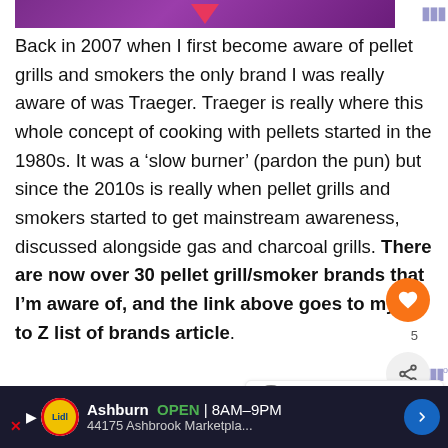[Figure (screenshot): Top banner image with purple/magenta gradient background and a downward-pointing heart/triangle shape in pink-red]
Back in 2007 when I first become aware of pellet grills and smokers the only brand I was really aware of was Traeger. Traeger is really where this whole concept of cooking with pellets started in the 1980s. It was a ‘slow burner’ (pardon the pun) but since the 2010s is really when pellet grills and smokers started to get mainstream awareness, discussed alongside gas and charcoal grills. There are now over 30 pellet grill/smoker brands that I’m aware of, and the link above goes to my A to Z list of brands article.
Now, you may already be aware of a few of the other brands such as Pit Boss, Camp Chef, Z Grills and I’m
[Figure (screenshot): Advertisement bar: Lidl store ad showing Ashburn OPEN 8AM-9PM, 44175 Ashbrook Marketpla... with Lidl logo and navigation arrow]